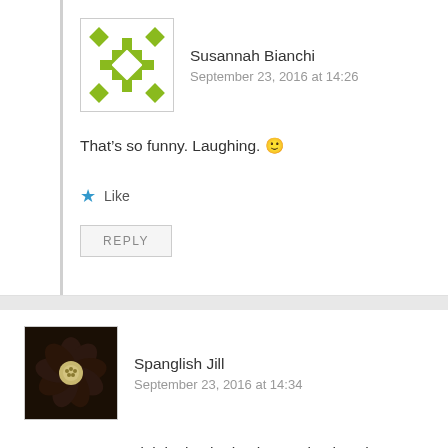Susannah Bianchi
September 23, 2016 at 14:26
That’s so funny. Laughing. 🙂
Like
REPLY
Spanglish Jill
September 23, 2016 at 14:34
Now I’m annoyed, lol. I loathe hyphens. I loathe when people add hyphens when the word in question clearly doesn’t need it. Take the word ‘bipolar’, for example. It’s uncommon, but some people like to add a hyphen to that word–bi-polar. Yuck! That makes my skin crawl.